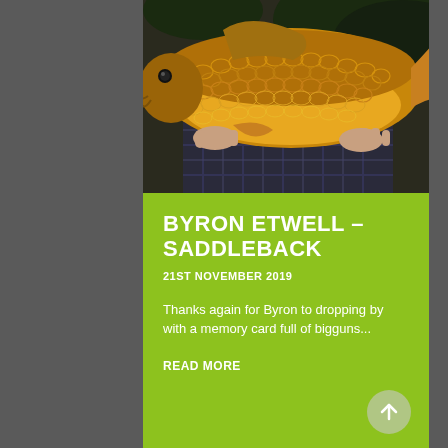[Figure (photo): A large golden-scaled common carp fish being held by a person wearing a plaid shirt, photographed at night or low light. The fish has prominent scales in gold/amber tones and occupies most of the frame.]
BYRON ETWELL – SADDLEBACK
21ST NOVEMBER 2019
Thanks again for Byron to dropping by with a memory card full of bigguns...
READ MORE